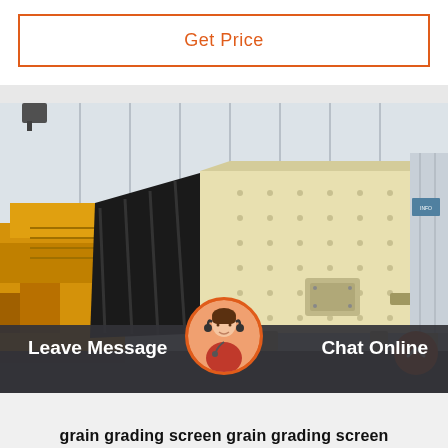Get Price
[Figure (photo): Industrial vibrating screen / grain grading screen machine shown in a warehouse or factory setting. The large machine is cream/beige colored with a black angled side panel, mounted on legs, with a motor attached. Yellow construction equipment visible in background left. Concrete floor and corrugated metal wall panels visible.]
Leave Message   Chat Online   grain grading screen  grain grading screen